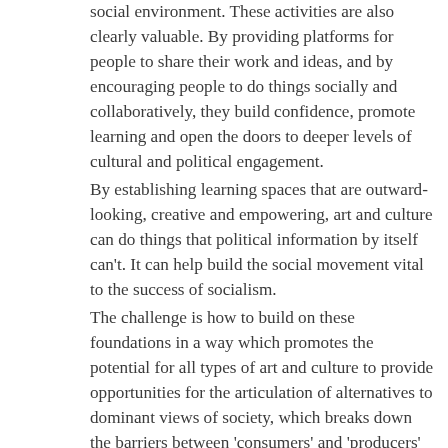social environment. These activities are also clearly valuable. By providing platforms for people to share their work and ideas, and by encouraging people to do things socially and collaboratively, they build confidence, promote learning and open the doors to deeper levels of cultural and political engagement.
By establishing learning spaces that are outward-looking, creative and empowering, art and culture can do things that political information by itself can't. It can help build the social movement vital to the success of socialism.
The challenge is how to build on these foundations in a way which promotes the potential for all types of art and culture to provide opportunities for the articulation of alternatives to dominant views of society, which breaks down the barriers between 'consumers' and 'producers' of culture, and which underpins the development of a politics of radical social and political change. Whatever solutions emerge, the process must facilitate and encourage the formation of new collaborative networks at local, regional and national levels which are democratic, participative and empowering. And which